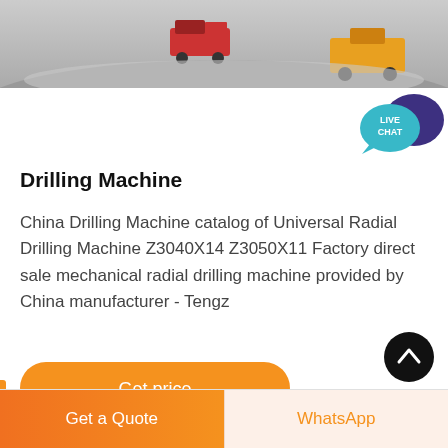[Figure (photo): Top banner photo showing mining trucks and heavy equipment on a grey/snowy terrain]
[Figure (illustration): Live Chat speech bubble icon with teal bubble labeled LIVE CHAT and dark purple larger bubble behind it]
Drilling Machine
China Drilling Machine catalog of Universal Radial Drilling Machine Z3040X14 Z3050X11 Factory direct sale mechanical radial drilling machine provided by China manufacturer - Tengz
[Figure (other): Orange rounded rectangle button labeled Get price]
[Figure (other): Black circular scroll-to-top button with upward chevron arrow]
[Figure (other): Bottom navigation bar with orange Get a Quote button on left and WhatsApp button on right]